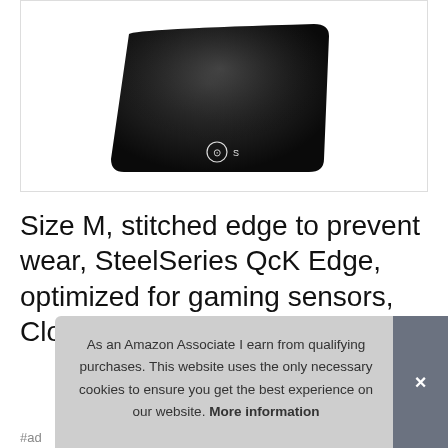[Figure (photo): SteelSeries QcK Edge cloth gaming mouse pad, black with rounded corners, SteelSeries logo visible at the bottom center, photographed on white background]
Size M, stitched edge to prevent wear, SteelSeries QcK Edge, optimized for gaming sensors, Cloth Gaming Mouse Pad
#ad
As an Amazon Associate I earn from qualifying purchases. This website uses the only necessary cookies to ensure you get the best experience on our website. More information